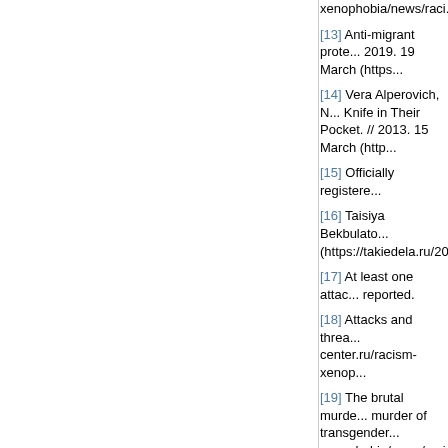xenophobia/news/raci...
[13] Anti-migrant prote... 2019. 19 March (https...
[14] Vera Alperovich, N... Knife in Their Pocket. // 2013. 15 March (http...
[15] Officially registere...
[16] Taisiya Bekbulato... (https://takiedela.ru/20...
[17] At least one attac... reported.
[18] Attacks and threa... center.ru/racism-xenop...
[19] The brutal murde... murder of transgender... xenophobia/news/raci...
[20] A homophobic att... center.ru/racism-xenop...
[21] Several young me... December (https://www...
[22] Ksenia Morozova... to Have Been Involved... (http://www.sobaka.ru/...